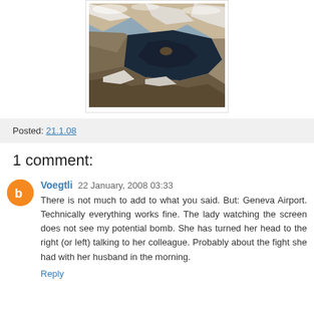[Figure (photo): Aerial/satellite photograph showing mountainous terrain with a dark blue body of water (lake or sea), snow-capped ridges, and brown landscape viewed from above.]
Posted: 21.1.08
1 comment:
Voegtli 22 January, 2008 03:33
There is not much to add to what you said. But: Geneva Airport. Technically everything works fine. The lady watching the screen does not see my potential bomb. She has turned her head to the right (or left) talking to her colleague. Probably about the fight she had with her husband in the morning.
Reply